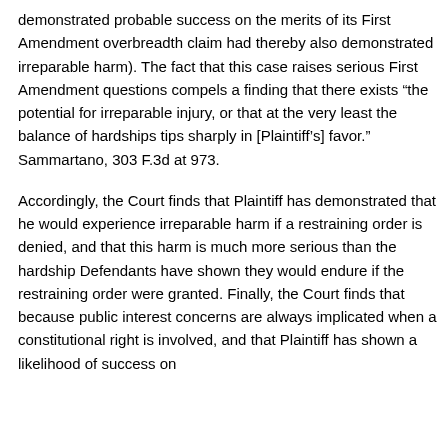demonstrated probable success on the merits of its First Amendment overbreadth claim had thereby also demonstrated irreparable harm). The fact that this case raises serious First Amendment questions compels a finding that there exists “the potential for irreparable injury, or that at the very least the balance of hardships tips sharply in [Plaintiff’s] favor.” Sammartano, 303 F.3d at 973.
Accordingly, the Court finds that Plaintiff has demonstrated that he would experience irreparable harm if a restraining order is denied, and that this harm is much more serious than the hardship Defendants have shown they would endure if the restraining order were granted. Finally, the Court finds that because public interest concerns are always implicated when a constitutional right is involved, and that Plaintiff has shown a likelihood of success on